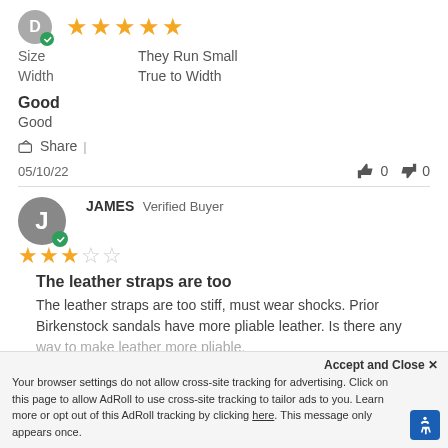[Figure (other): Reviewer avatar circle with letter D and green verified checkmark badge, followed by 5 yellow stars rating]
Size    They Run Small
Width    True to Width
Good
Good
Share |
05/10/22    👍 0   👎 0
[Figure (other): Reviewer avatar circle with letter J and green verified checkmark badge, name JAMES Verified Buyer, with 3 yellow stars and 2 empty stars rating]
The leather straps are too
The leather straps are too stiff, must wear shocks. Prior Birkenstock sandals have more pliable leather. Is there any way to make leather more pliable.
Accept and Close ✕
Your browser settings do not allow cross-site tracking for advertising. Click on this page to allow AdRoll to use cross-site tracking to tailor ads to you. Learn more or opt out of this AdRoll tracking by clicking here. This message only appears once.